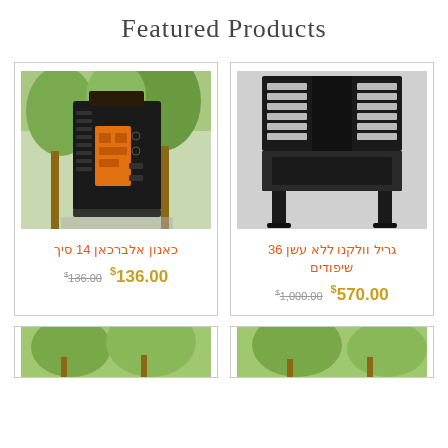Featured Products
[Figure (photo): Black vending-machine style charcoal stove with orange panel, outdoors among green trees]
כאנון אלברכאן 14 סיך
$136.00  $136.00
[Figure (photo): Black metal grill/smoker with multiple skewer slots on legs, viewed from front]
גריל וולקנו ללא עשן 36 שיפודים
$1,000.00  $570.00
[Figure (photo): Partial view of product among green foliage - bottom left card]
[Figure (photo): Partial view of product among green foliage - bottom right card]